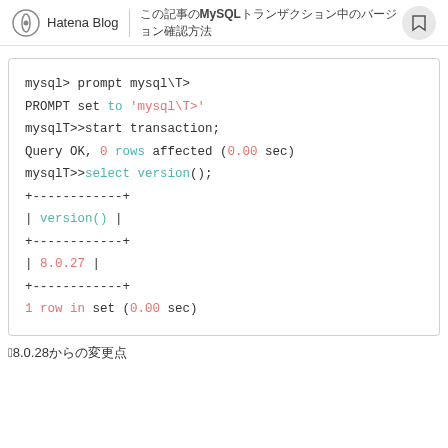Hatena Blog | MySQLのトランザクション中のバージョン確認方法
[Figure (screenshot): Terminal/code block showing MySQL session: setting prompt to mysql\T>, starting transaction, and selecting version() which returns 8.0.27]
↓8.0.28からの変更点